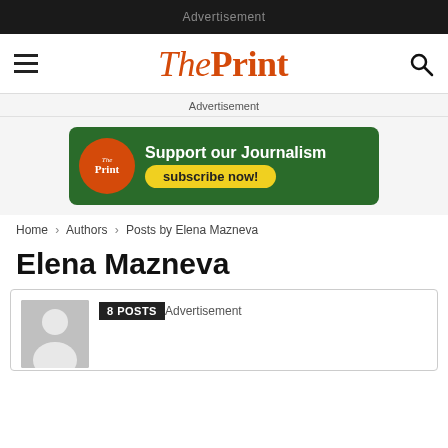Advertisement
[Figure (logo): ThePrint website navigation bar with hamburger menu, ThePrint logo in red italic/bold, and search icon]
Advertisement
[Figure (infographic): ThePrint subscription advertisement banner: green rounded rectangle with ThePrint circular logo, text 'Support our Journalism' in white and 'subscribe now!' in yellow pill button]
Home › Authors › Posts by Elena Mazneva
Elena Mazneva
[Figure (photo): Author profile card showing grey silhouette avatar placeholder image and '8 POSTS' badge with 'Advertisement' text beside it]